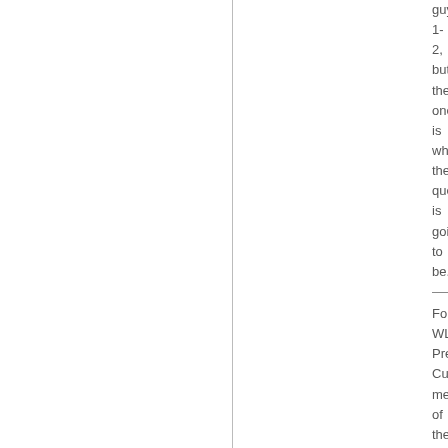guy 1-2, but the one is wh the que is goi to be.
For WL Pre Cur me of the IBC Co and the WC